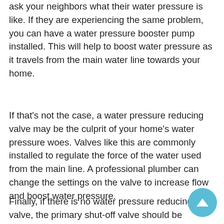ask your neighbors what their water pressure is like. If they are experiencing the same problem, you can have a water pressure booster pump installed. This will help to boost water pressure as it travels from the main water line towards your home.
If that's not the case, a water pressure reducing valve may be the culprit of your home's water pressure woes. Valves like this are commonly installed to regulate the force of the water used from the main line. A professional plumber can change the settings on the valve to increase flow and boost water pressure.
Finally, if there is no water pressure reducing valve, the primary shut-off valve should be checked by a professional. This valve needs to be entirely open. An expert can check, adjusting as necessary. They should also ensure that there are